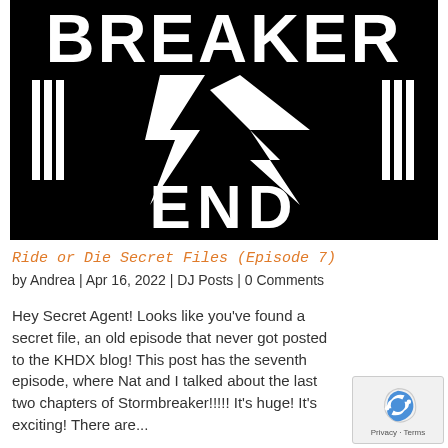[Figure (logo): Black and white logo image showing 'BREAKER END' text with lightning bolt graphic on black background]
Ride or Die Secret Files (Episode 7)
by Andrea | Apr 16, 2022 | DJ Posts | 0 Comments
Hey Secret Agent! Looks like you've found a secret file, an old episode that never got posted to the KHDX blog! This post has the seventh episode, where Nat and I talked about the last two chapters of Stormbreaker!!!!! It's huge! It's exciting! There are...